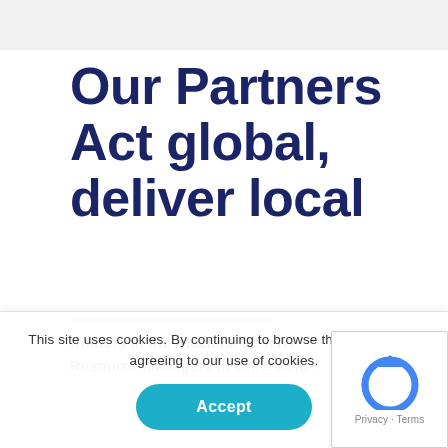Our Partners Act global, deliver local
Routers in the Atacama Desert?
Resource Managers in Greenland?
This site uses cookies. By continuing to browse the site, you are agreeing to our use of cookies.
Accept